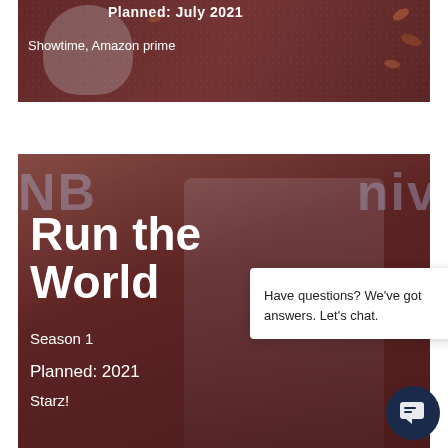[Figure (photo): Top card showing a person with glasses overlaid on a reddish-brown background with almonds/leaves scattered around]
Showtime, Amazon prime
[Figure (photo): Bottom card showing a young woman at a red carpet event with 'NB...univ' text in background]
Run the World
8
Season 1
Planned: 2021
Starz!
Have questions? We've got answers. Let's chat.